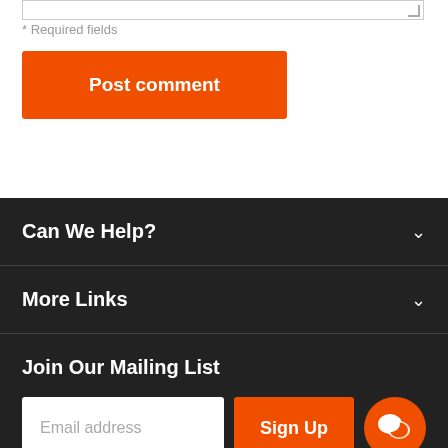* Required fields
Post comment
Can We Help?
More Links
Join Our Mailing List
Email address
Sign Up